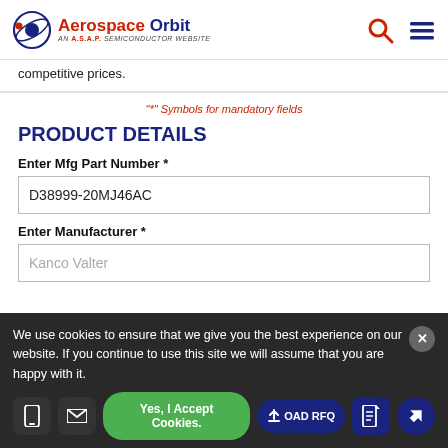Aerospace Orbit — AN A.S.A.P. SEMICONDUCTOR WEBSITE
competitive prices.
"*" Symbols for mandatory fields
PRODUCT DETAILS
Enter Mfg Part Number *
D38999-20MJ46AC
Enter Manufacturer *
Kanco Valter
We use cookies to ensure that we give you the best experience on our website. If you continue to use this site we will assume that you are happy with it.